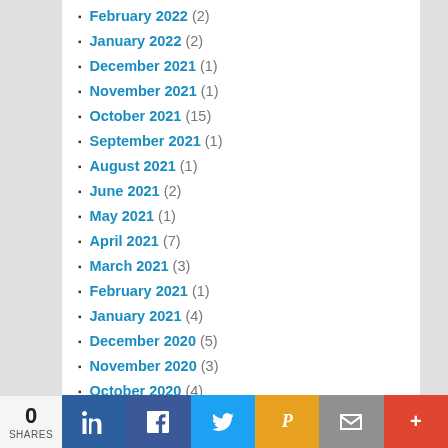February 2022 (2)
January 2022 (2)
December 2021 (1)
November 2021 (1)
October 2021 (15)
September 2021 (1)
August 2021 (1)
June 2021 (2)
May 2021 (1)
April 2021 (7)
March 2021 (3)
February 2021 (1)
January 2021 (4)
December 2020 (5)
November 2020 (3)
October 2020 (4)
September 2020 (6)
August 2020 (12)
July 2020 (3)
0 SHARES | LinkedIn | Facebook | Twitter | Pocket | Email | More